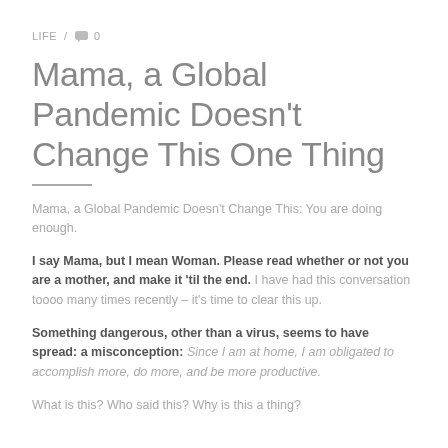LIFE / 💬 0
Mama, a Global Pandemic Doesn't Change This One Thing
Mama, a Global Pandemic Doesn't Change This: You are doing enough.
I say Mama, but I mean Woman. Please read whether or not you are a mother, and make it 'til the end. I have had this conversation toooo many times recently – it's time to clear this up.
Something dangerous, other than a virus, seems to have spread: a misconception: Since I am at home, I am obligated to accomplish more, do more, and be more productive.
What is this? Who said this? Why is this a thing?